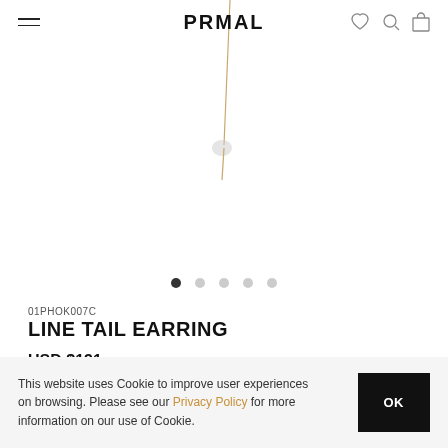PRMAL
[Figure (photo): Product photo of LINE TAIL EARRING — a gold-tone earring on white background, partially visible, with a slim linear design]
01PHOK007C
LINE TAIL EARRING
USD $131
This website uses Cookie to improve user experiences on browsing. Please see our Privacy Policy for more information on our use of Cookie.